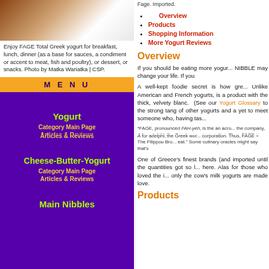[Figure (photo): Photo of food on a plate, likely falafel or meatballs with herbs on a white plate]
Enjoy FAGE Total Greek yogurt for breakfast, lunch, dinner (as a base for sauces, a condiment or accent to meat, fish and poultry), or dessert, or snacks. Photo by Matka Wariatka | CSP.
MENU
Yogurt
Category Main Page
Articles & Reviews
Cheese-Butter-Yogurt
Category Main Page
Articles & Reviews
Main Nibbles
Fage. Imported.
Overview
Products
Shopping Information
More Yogurt Reviews
Overview
If you should be eating more yogurt, NIBBLE may change your life. If you
A well-kept foodie secret is how gre... Unlike American and French yogurts, is a product with the thick, velvety blanc.  (See our Yogurt Glossary to the strong tang of other yogurts and a yet to meet someone who, having tas...
*FAGE, pronounced FAH-yeh, is the an acro... the company, A for adelphi, the Greek wor... corporation. Thus, FAGE = The Filippou Bro... eat." Some culinary oracles might say that's
One of Greece's finest brands (and imported until the quantities got so l... here. Alas for those who loved the i... only the cow's milk yogurts are made love.